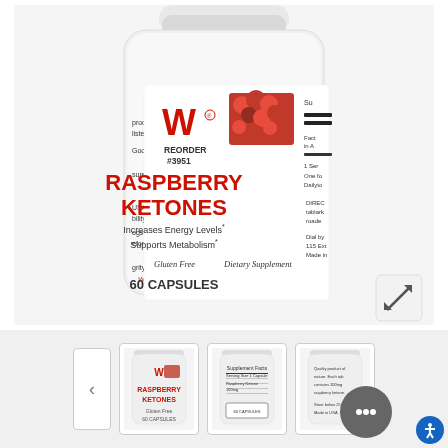[Figure (photo): Product photo of a white supplement bottle labeled 'Raspberry Ketones' by a company with a W logo. The bottle shows REORDER #3951, states it Increases Energy Levels and Supports Metabolism, is Gluten Free, a Dietary Supplement, and contains 60 Capsules. A photo of raspberries appears on the label.]
[Figure (photo): Thumbnail image 1: front view of Raspberry Ketones bottle]
[Figure (photo): Thumbnail image 2: back/side view showing Supplement Facts panel]
[Figure (photo): Thumbnail image 3: side view with text on bottle]